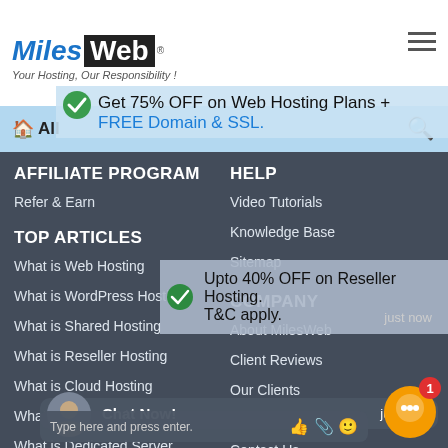[Figure (logo): MilesWeb logo with tagline 'Your Hosting, Our Responsibility!']
All (navigation bar with home icon and search icon)
Get 75% OFF on Web Hosting Plans + FREE Domain & SSL.
AFFILIATE PROGRAM
Refer & Earn
TOP ARTICLES
What is Web Hosting
What is WordPress Hosting
What is Shared Hosting
What is Reseller Hosting
What is Cloud Hosting
What is VPS Hosting
What is Dedicated Server
MilesWeb vs GoDaddy
HELP
Video Tutorials
Knowledge Base
Sitemap
COMPANY
About MilesWeb
Client Reviews
Our Clients
Events
Contact Us
Upto 40% OFF on Reseller Hosting. T&C apply.
Chat Now! just now
Type here and press enter.